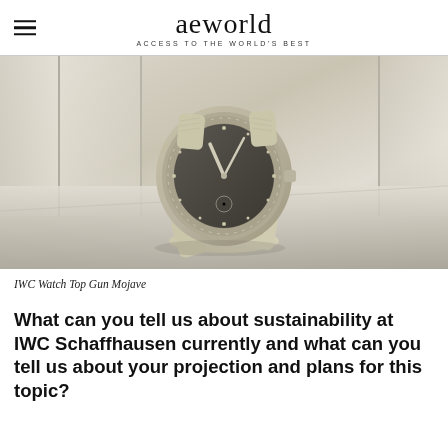aeworld ACCESS TO THE WORLD'S BEST
[Figure (photo): A luxury IWC watch with a tan/beige ceramic case and dark grey dial, resting on a light grey surface against a neutral background with vertical architectural elements. The watch has a textile strap in a sandy/khaki color.]
IWC Watch Top Gun Mojave
What can you tell us about sustainability at IWC Schaffhausen currently and what can you tell us about your projection and plans for this topic?